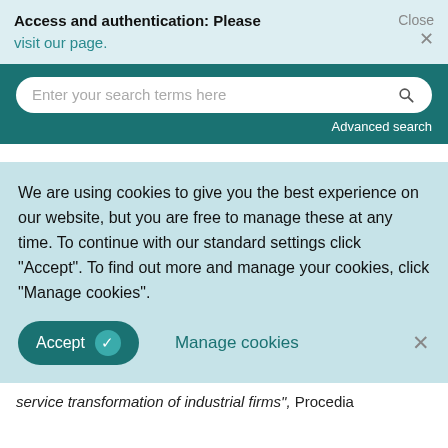Access and authentication: Please visit our page.  Close ×
[Figure (screenshot): Search bar with placeholder text 'Enter your search terms here' and a search icon on the right, on a dark teal background with 'Advanced search' link below]
We are using cookies to give you the best experience on our website, but you are free to manage these at any time. To continue with our standard settings click "Accept". To find out more and manage your cookies, click "Manage cookies".
Accept ✓   Manage cookies   ×
service transformation of industrial firms", Procedia